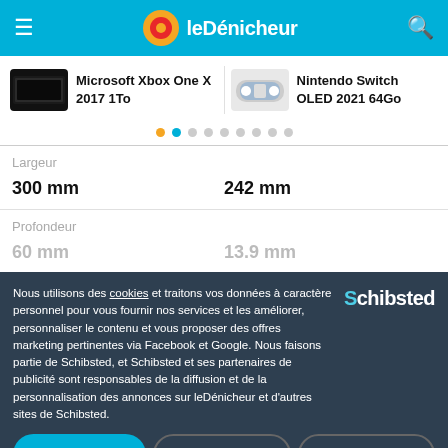leDénicheur
Microsoft Xbox One X 2017 1To
Nintendo Switch OLED 2021 64Go
Largeur
300 mm
242 mm
Profondeur
60 mm
13.9 mm
Nous utilisons des cookies et traitons vos données à caractère personnel pour vous fournir nos services et les améliorer, personnaliser le contenu et vous proposer des offres marketing pertinentes via Facebook et Google. Nous faisons partie de Schibsted, et Schibsted et ses partenaires de publicité sont responsables de la diffusion et de la personnalisation des annonces sur leDénicheur et d'autres sites de Schibsted.
Accepter
Refuser tout
Mes options